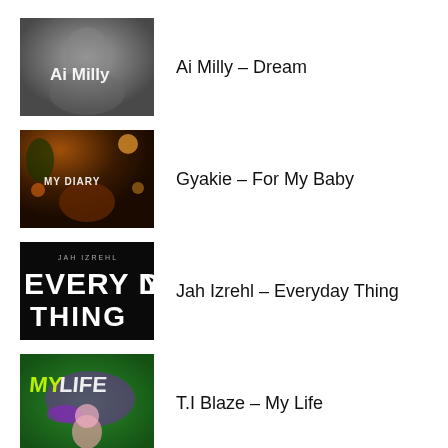[Figure (illustration): Album art for Ai Milly – Dream: black and white blurred portrait with text 'Ai Milly' in white]
Ai Milly – Dream
[Figure (illustration): Album art for Gyakie – For My Baby: dark scene with warm lights and 'MY DIARY' text]
Gyakie – For My Baby
[Figure (illustration): Album art for Jah Izrehl – Everyday Thing: black background with bold text 'EVERY DAY THING' and 'JAH IZREHL']
Jah Izrehl – Everyday Thing
[Figure (illustration): Album art for T.I Blaze – My Life: colorful green background with animated cartoon character and 'MY LIFE' text]
T.I Blaze – My Life